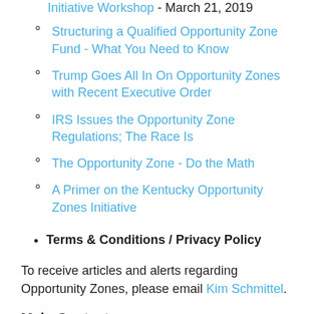Initiative Workshop - March 21, 2019
Structuring a Qualified Opportunity Zone Fund - What You Need to Know
Trump Goes All In On Opportunity Zones with Recent Executive Order
IRS Issues the Opportunity Zone Regulations; The Race Is
The Opportunity Zone - Do the Math
A Primer on the Kentucky Opportunity Zones Initiative
Terms & Conditions / Privacy Policy
To receive articles and alerts regarding Opportunity Zones, please email Kim Schmittel.
Main Contacts